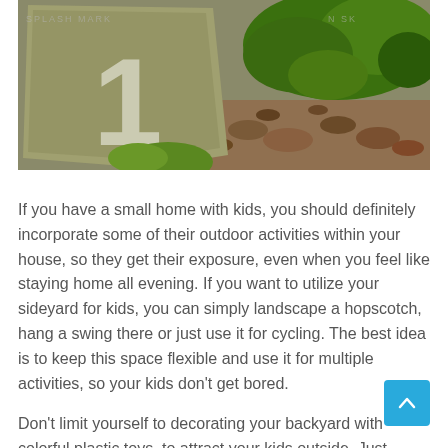[Figure (photo): A stone garden marker with the number 1 painted in white, surrounded by green shrubs, small plants, and rocks/pebbles in a garden setting. Watermark text visible on both sides.]
If you have a small home with kids, you should definitely incorporate some of their outdoor activities within your house, so they get their exposure, even when you feel like staying home all evening. If you want to utilize your sideyard for kids, you can simply landscape a hopscotch, hang a swing there or just use it for cycling. The best idea is to keep this space flexible and use it for multiple activities, so your kids don't get bored.
Don't limit yourself to decorating your backyard with colorful plastic toys, to attract your kids outside. Just